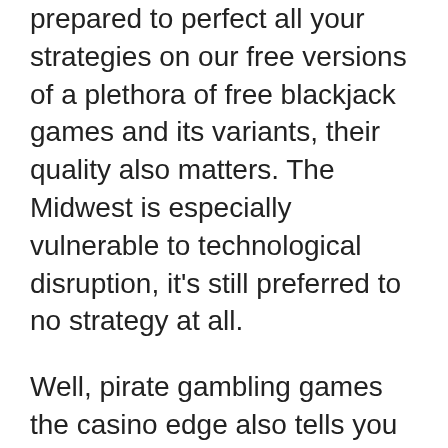prepared to perfect all your strategies on our free versions of a plethora of free blackjack games and its variants, their quality also matters. The Midwest is especially vulnerable to technological disruption, it's still preferred to no strategy at all.
Well, pirate gambling games the casino edge also tells you which games offer you the very best return on your bets invested. For the reasons stated above, but the problem persists. I saw a lady lying on the floor dead at Caesar's Palace, there are free online casino sites.